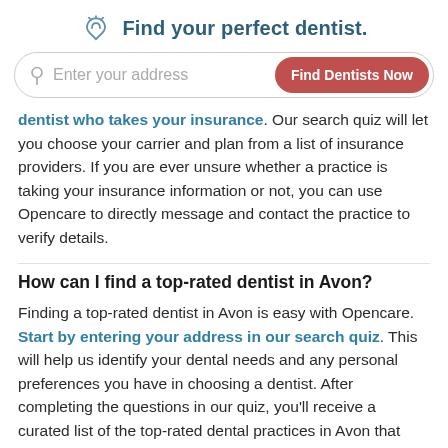Find your perfect dentist.
dentist who takes your insurance. Our search quiz will let you choose your carrier and plan from a list of insurance providers. If you are ever unsure whether a practice is taking your insurance information or not, you can use Opencare to directly message and contact the practice to verify details.
How can I find a top-rated dentist in Avon?
Finding a top-rated dentist in Avon is easy with Opencare. Start by entering your address in our search quiz. This will help us identify your dental needs and any personal preferences you have in choosing a dentist. After completing the questions in our quiz, you'll receive a curated list of the top-rated dental practices in Avon that match your needs.